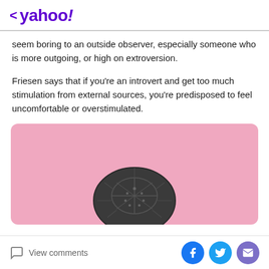< yahoo!
seem boring to an outside observer, especially someone who is more outgoing, or high on extroversion.
Friesen says that if you're an introvert and get too much stimulation from external sources, you're predisposed to feel uncomfortable or overstimulated.
[Figure (photo): Pink background with the top of a turtle shell visible at the bottom center of the image]
View comments | Facebook share | Twitter share | Email share